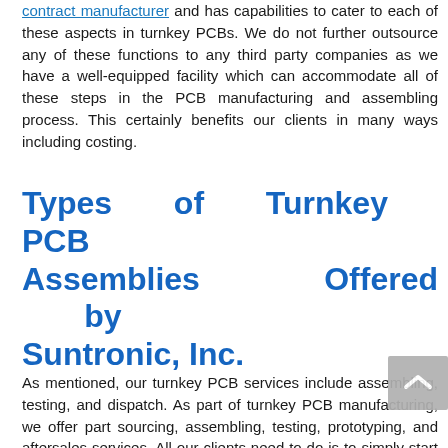contract manufacturer and has capabilities to cater to each of these aspects in turnkey PCBs. We do not further outsource any of these functions to any third party companies as we have a well-equipped facility which can accommodate all of these steps in the PCB manufacturing and assembling process. This certainly benefits our clients in many ways including costing.
Types of Turnkey PCB Assemblies Offered by Suntronic, Inc.
As mentioned, our turnkey PCB services include assembling, testing, and dispatch. As part of turnkey PCB manufacturing, we offer part sourcing, assembling, testing, prototyping, and aftersales services. All our clients need to do is to simply start using our solution. This begins with a thorough [gathering] gathering process with detailed discussions to understand your requirements. This is because turnkey solutions are tailor